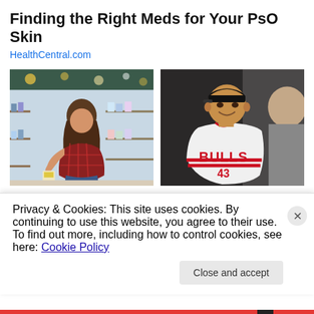Finding the Right Meds for Your PsO Skin
HealthCentral.com
[Figure (photo): Woman crouching in a pharmacy/store aisle reading a product label, shelves with products in background]
Sizing Up Your Psoriasis Medicine Cabinet
HealthCentral
[Figure (photo): Young man in a Chicago Bulls basketball jersey smiling, with another person partially visible to the right]
21 Famous People Who Went Missing And Were Never Found To This Day
Privacy & Cookies: This site uses cookies. By continuing to use this website, you agree to their use.
To find out more, including how to control cookies, see here: Cookie Policy
Close and accept